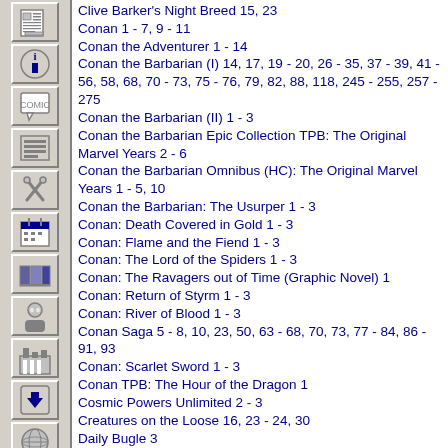Clive Barker's Night Breed 15, 23
Conan 1 - 7, 9 - 11
Conan the Adventurer 1 - 14
Conan the Barbarian (I) 14, 17, 19 - 20, 26 - 35, 37 - 39, 41 - 56, 58, 68, 70 - 73, 75 - 76, 79, 82, 88, 118, 245 - 255, 257 - 275
Conan the Barbarian (II) 1 - 3
Conan the Barbarian Epic Collection TPB: The Original Marvel Years 2 - 6
Conan the Barbarian Omnibus (HC): The Original Marvel Years 1 - 5, 10
Conan the Barbarian: The Usurper 1 - 3
Conan: Death Covered in Gold 1 - 3
Conan: Flame and the Fiend 1 - 3
Conan: The Lord of the Spiders 1 - 3
Conan: The Ravagers out of Time (Graphic Novel) 1
Conan: Return of Styrm 1 - 3
Conan: River of Blood 1 - 3
Conan Saga 5 - 8, 10, 23, 50, 63 - 68, 70, 73, 77 - 84, 86 - 91, 93
Conan: Scarlet Sword 1 - 3
Conan TPB: The Hour of the Dragon 1
Cosmic Powers Unlimited 2 - 3
Creatures on the Loose 16, 23 - 24, 30
Daily Bugle 3
Dakota North TPB: Design for Dying 1
Daredevil (I) 81 - 82, 85, 88 - 89, 92 - 97, 108, 116, 125, 130, 139, 142 - 144, 147, 153, 164